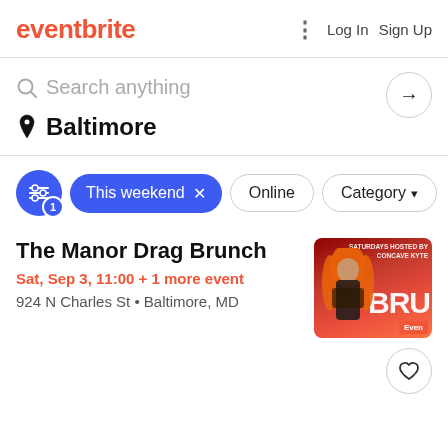eventbrite — Log In  Sign Up
Search anything
Baltimore
This weekend  Online  Category
The Manor Drag Brunch
Sat, Sep 3, 11:00 + 1 more event
924 N Charles St • Baltimore, MD
[Figure (photo): Event promotional image for The Manor Drag Brunch featuring a drag performer with bright orange hair on a red background with text 'SATURDAYS HOSTED BY CONCAVE KYTE' and 'BRU']